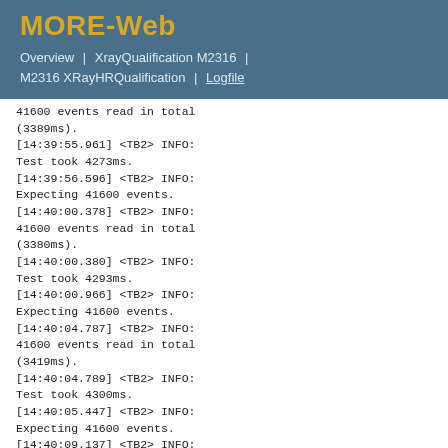MORE-Web
Overview | XrayQualification M2316 | M2316 XRayHRQualification | Logfile
41600 events read in total (3389ms).
[14:39:55.961] <TB2> INFO: Test took 4273ms.
[14:39:56.596] <TB2> INFO: Expecting 41600 events.
[14:40:00.378] <TB2> INFO: 41600 events read in total (3380ms).
[14:40:00.380] <TB2> INFO: Test took 4293ms.
[14:40:00.966] <TB2> INFO: Expecting 41600 events.
[14:40:04.787] <TB2> INFO: 41600 events read in total (3419ms).
[14:40:04.789] <TB2> INFO: Test took 4300ms.
[14:40:05.447] <TB2> INFO: Expecting 41600 events.
[14:40:09.137] <TB2> INFO: 41600 events read in total (3289ms).
[14:40:09.140] <TB2> INFO: Test took 4218ms.
[14:40:09.210] <TB2> INFO: